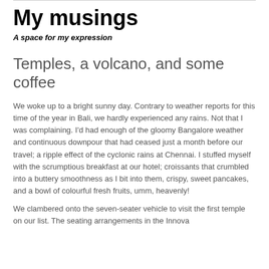My musings
A space for my expression
Temples, a volcano, and some coffee
We woke up to a bright sunny day. Contrary to weather reports for this time of the year in Bali, we hardly experienced any rains. Not that I was complaining. I’d had enough of the gloomy Bangalore weather and continuous downpour that had ceased just a month before our travel; a ripple effect of the cyclonic rains at Chennai. I stuffed myself with the scrumptious breakfast at our hotel; croissants that crumbled into a buttery smoothness as I bit into them, crispy, sweet pancakes, and a bowl of colourful fresh fruits, umm, heavenly!
We clambered onto the seven-seater vehicle to visit the first temple on our list. The seating arrangements in the Innova…